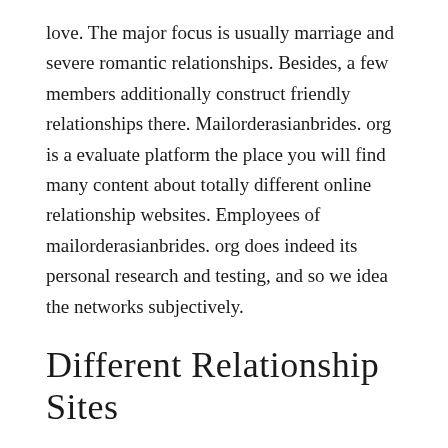love. The major focus is usually marriage and severe romantic relationships. Besides, a few members additionally construct friendly relationships there. Mailorderasianbrides. org is a evaluate platform the place you will find many content about totally different online relationship websites. Employees of mailorderasianbrides. org does indeed its personal research and testing, and so we idea the networks subjectively.
Different Relationship Sites
Some may need your most important IDENTIFICATION, like your new driver license or passport. That is doubtless deemed one of the most significant dating internet sites in Cina. It's severe about serving to users find a spouse, somewhat than a fling. Should you be looking for a lot of